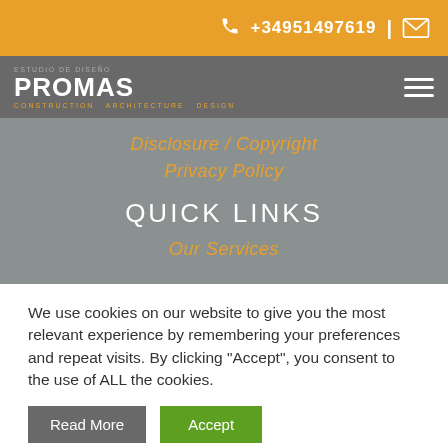+34951497619 | [mail icon]
[Figure (logo): PROMAS logo with tagline: construction architecture design]
Disclosure / Copyright
Privacy Policy
QUICK LINKS
Our Services
We use cookies on our website to give you the most relevant experience by remembering your preferences and repeat visits. By clicking "Accept", you consent to the use of ALL the cookies.
Read More  Accept
CONTACT US [mail icon]